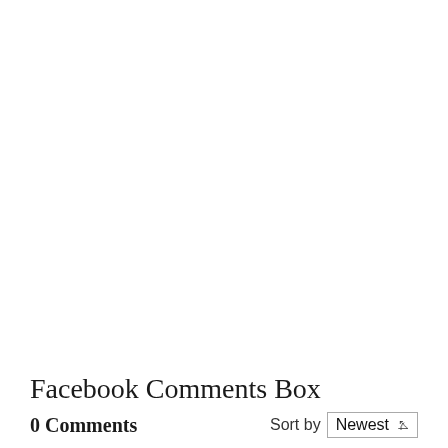Facebook Comments Box
0 Comments    Sort by  Newest ▾